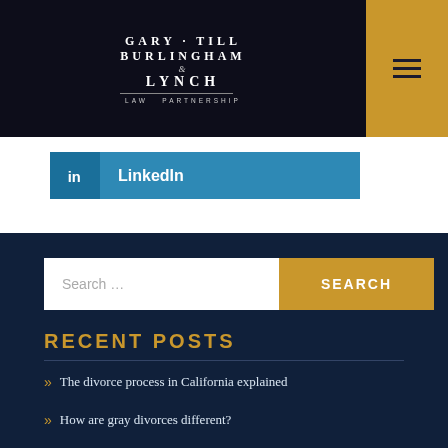GARY·TILL BURLINGHAM & LYNCH LAW PARTNERSHIP
[Figure (logo): Gary Till Burlingham & Lynch Law Partnership logo on dark background with gold hamburger menu icon]
LinkedIn
Search ...
RECENT POSTS
The divorce process in California explained
How are gray divorces different?